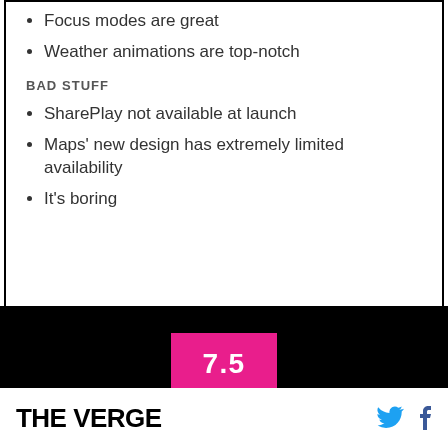Focus modes are great
Weather animations are top-notch
BAD STUFF
SharePlay not available at launch
Maps' new design has extremely limited availability
It's boring
[Figure (other): Black background panel with pink score box showing '7.5' numeric rating]
THE VERGE